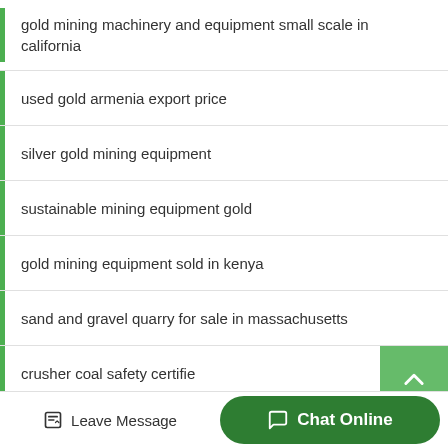gold mining machinery and equipment small scale in california
used gold armenia export price
silver gold mining equipment
sustainable mining equipment gold
gold mining equipment sold in kenya
sand and gravel quarry for sale in massachusetts
crusher coal safety certifie
concrete slab bolivia bolivia
Leave Message   Chat Online